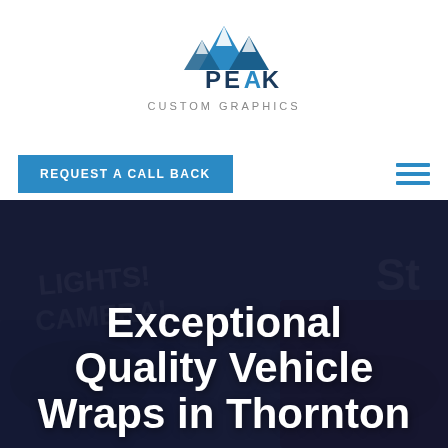[Figure (logo): Peak Custom Graphics logo — mountain peak icon in blue above stylized text PEAK CUSTOM GRAPHICS]
REQUEST A CALL BACK
[Figure (screenshot): Hero background image showing vehicle wraps in dark navy overlay with partial text LIGHTS! CAMERA!]
Exceptional Quality Vehicle Wraps in Thornton